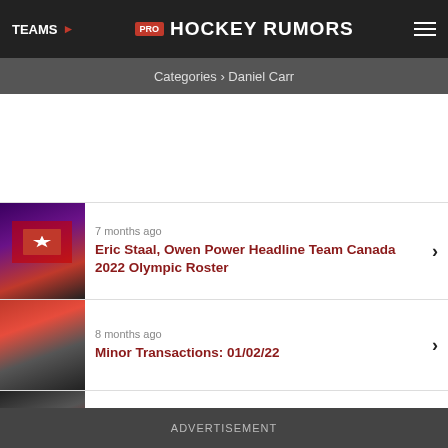TEAMS | PRO HOCKEY RUMORS
Categories › Daniel Carr
7 months ago
Eric Staal, Owen Power Headline Team Canada 2022 Olympic Roster
8 months ago
Minor Transactions: 01/02/22
2 years ago
Washington Capitals Activate Alex Ovechkin
ADVERTISEMENT